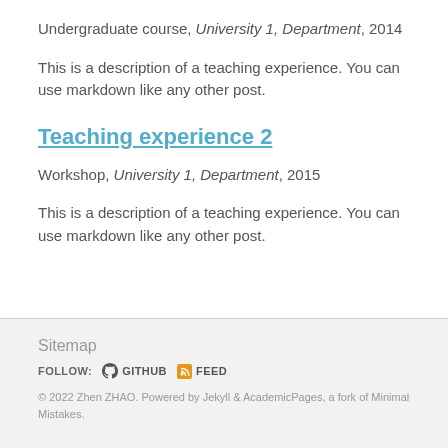Undergraduate course, University 1, Department, 2014
This is a description of a teaching experience. You can use markdown like any other post.
Teaching experience 2
Workshop, University 1, Department, 2015
This is a description of a teaching experience. You can use markdown like any other post.
Sitemap
FOLLOW: GITHUB FEED
© 2022 Zhen ZHAO. Powered by Jekyll & AcademicPages, a fork of Minimal Mistakes.